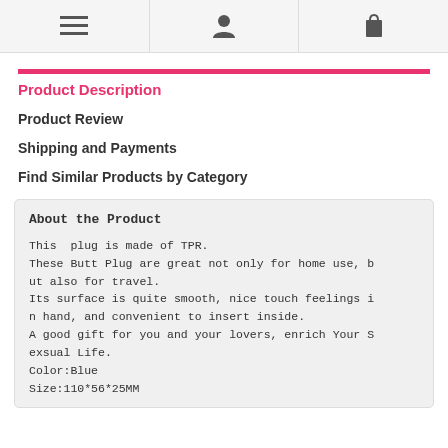[menu icon] [user icon] [bag icon]
Product Description
Product Review
Shipping and Payments
Find Similar Products by Category
About the Product

This  plug is made of TPR.
These Butt Plug are great not only for home use, but also for travel.
Its surface is quite smooth, nice touch feelings in hand, and convenient to insert inside.
A good gift for you and your lovers, enrich Your Sexsual Life.
Color:Blue
Size:110*56*25MM